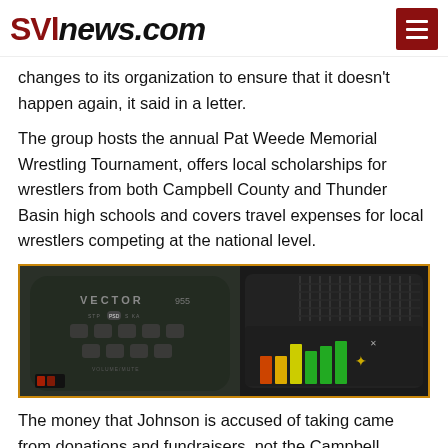SVInews.com
changes to its organization to ensure that it doesn't happen again, it said in a letter.
The group hosts the annual Pat Weede Memorial Wrestling Tournament, offers local scholarships for wrestlers from both Campbell County and Thunder Basin high schools and covers travel expenses for local wrestlers competing at the national level.
[Figure (photo): Close-up photograph of two radar detector devices: a Vector 955 on the left and another black radar detector on the right with colored LED display indicators.]
The money that Johnson is accused of taking came from donations and fundraisers, not the Campbell County Public Recreation District Rec Mill grant, which is still